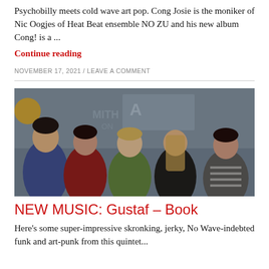Psychobilly meets cold wave art pop. Cong Josie is the moniker of Nic Oogjes of Heat Beat ensemble NO ZU and his new album Cong! is a ...
Continue reading
NOVEMBER 17, 2021 / LEAVE A COMMENT
[Figure (photo): Band photo of five people (one male, four female) standing close together in front of a wall with partial lettering visible. The group appears to be the band Gustaf.]
NEW MUSIC: Gustaf – Book
Here's some super-impressive skronking, jerky, No Wave-indebted funk and art-punk from this quintet...